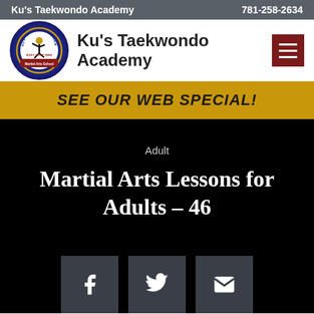Ku's Taekwondo Academy   781-258-2634
[Figure (logo): Ku's Taekwondo Academy circular logo with martial arts figure, red and blue colors, text 'BODY SPIRIT MIND' and 'Martial Arts School']
Ku's Taekwondo Academy
SEE OUR WEB SPECIAL!
Adult
Martial Arts Lessons for Adults – 46